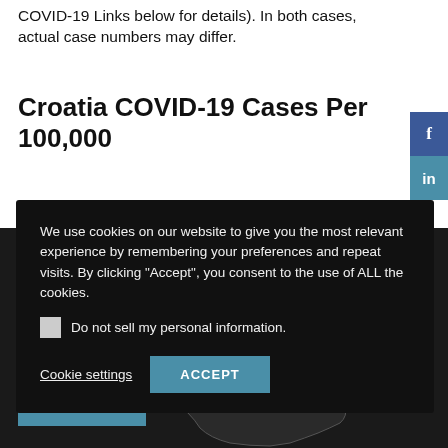COVID-19 Links below for details). In both cases, actual case numbers may differ.
Croatia COVID-19 Cases Per 100,000
We use cookies on our website to give you the most relevant experience by remembering your preferences and repeat visits. By clicking “Accept”, you consent to the use of ALL the cookies.
Do not sell my personal information.
Cookie settings  ACCEPT
[Figure (map): Map of Croatia showing regions including Lika-Senj, Zadar, and Split-Dalmatia, displayed in dark/black tones with white region borders and labels.]
Translate »